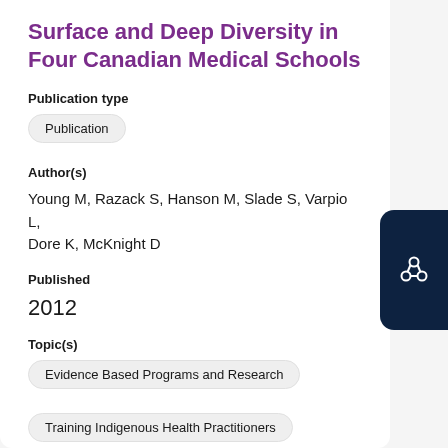Surface and Deep Diversity in Four Canadian Medical Schools
Publication type
Publication
Author(s)
Young M, Razack S, Hanson M, Slade S, Varpio L, Dore K, McKnight D
Published
2012
Topic(s)
Evidence Based Programs and Research
Training Indigenous Health Practitioners